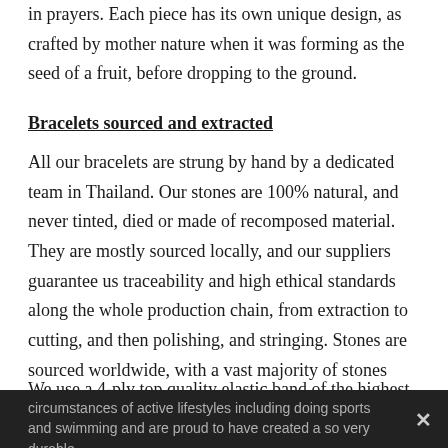in prayers. Each piece has its own unique design, as crafted by mother nature when it was forming as the seed of a fruit, before dropping to the ground.
Bracelets sourced and extracted
All our bracelets are strung by hand by a dedicated team in Thailand. Our stones are 100% natural, and never tinted, died or made of recomposed material. They are mostly sourced locally, and our suppliers guarantee us traceability and high ethical standards along the whole production chain, from extraction to cutting, and then polishing, and stringing. Stones are sourced worldwide, with a vast majority of stones coming from South East Asia, Africa and Brazil, and are cut and polished in India.
We use a 4-ply top quality elastic band of the highest durability. We have been wearing our bracelets for years, in circumstances of active lifestyles including doing sports and swimming and are proud to have created a so very durable